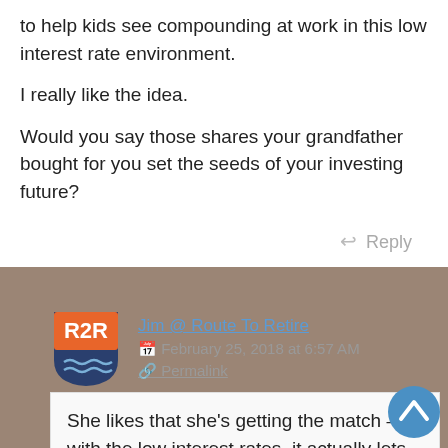to help kids see compounding at work in this low interest rate environment.
I really like the idea.
Would you say those shares your grandfather bought for you set the seeds of your investing future?
Reply
Jim @ Route To Retire
February 25, 2018 at 6:57 AM
Permalink
She likes that she's getting the match – with the low interest rates, it actually lets her see her money grow faster. Sometimes she'll give me even more money than the half to